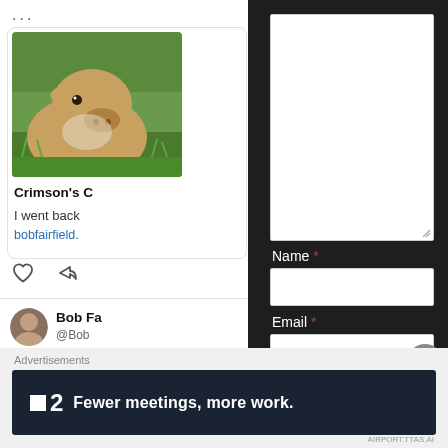...
[Figure (photo): Cow in a grassy field, close-up photo]
Crimson's C
I went back
bobfairfield.
Bob Fa @Bob
Ronovan write
#Haiku promp
bobfairfield.org
[Figure (screenshot): Comment form with textarea, Name field with required asterisk, Email field with required asterisk, and Website label partially visible]
Name *
Email *
Websit
Advertisements
[Figure (other): Advertisement banner with Plan 2 logo and text 'Fewer meetings, more work.']